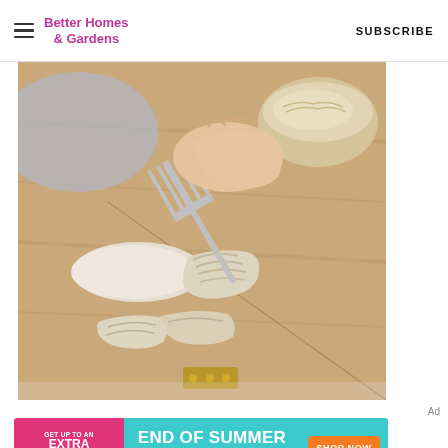Better Homes & Gardens | SUBSCRIBE
[Figure (photo): Hands using a fork to shred cooked chicken breast on a wooden cutting board, with a bowl of shredded chicken in the background]
Ad
[Figure (infographic): Advertisement banner: GET UP TO AN EXTRA 50% OFF | END OF SUMMER SALE-A-THON | SHOP NOW]